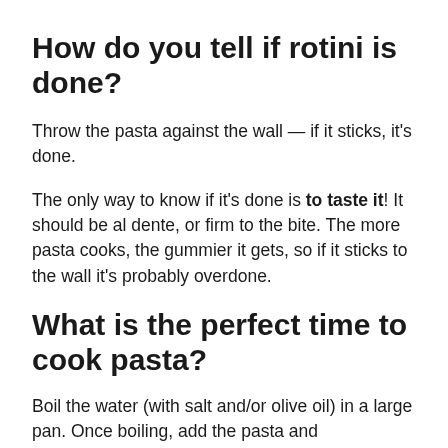How do you tell if rotini is done?
Throw the pasta against the wall — if it sticks, it's done.
The only way to know if it's done is to taste it! It should be al dente, or firm to the bite. The more pasta cooks, the gummier it gets, so if it sticks to the wall it's probably overdone.
What is the perfect time to cook pasta?
Boil the water (with salt and/or olive oil) in a large pan. Once boiling, add the pasta and…